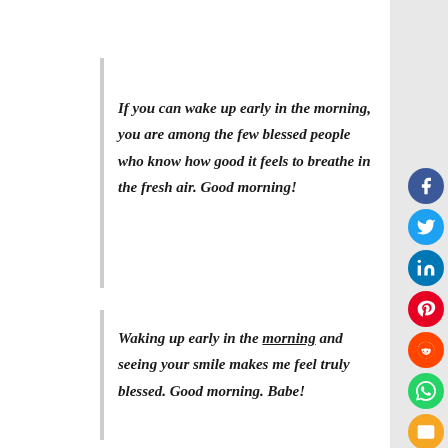If you can wake up early in the morning, you are among the few blessed people who know how good it feels to breathe in the fresh air. Good morning!
Waking up early in the morning and seeing your smile makes me feel truly blessed. Good morning. Babe!